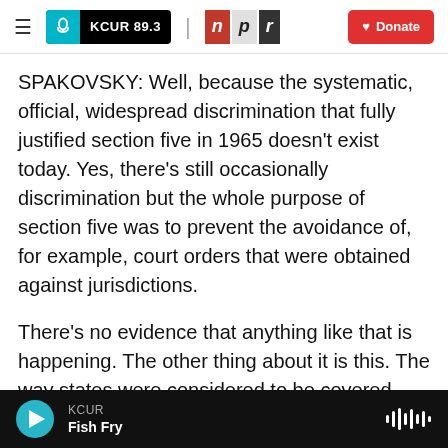KCUR 89.3 | npr | Donate
SPAKOVSKY: Well, because the systematic, official, widespread discrimination that fully justified section five in 1965 doesn't exist today. Yes, there's still occasionally discrimination but the whole purpose of section five was to prevent the avoidance of, for example, court orders that were obtained against jurisdictions.
There's no evidence that anything like that is happening. The other thing about it is this. The way states were considered to be covered was based on voter registration and turnout. The triggering formula for being covered was having registration
KCUR | Fish Fry